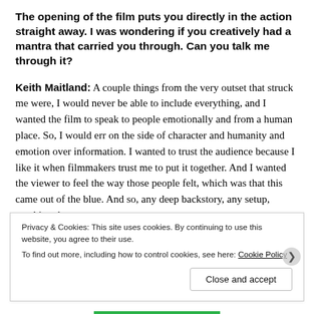The opening of the film puts you directly in the action straight away. I was wondering if you creatively had a mantra that carried you through. Can you talk me through it?
Keith Maitland: A couple things from the very outset that struck me were, I would never be able to include everything, and I wanted the film to speak to people emotionally and from a human place. So, I would err on the side of character and humanity and emotion over information. I wanted to trust the audience because I like it when filmmakers trust me to put it together. And I wanted the viewer to feel the way those people felt, which was that this came out of the blue. And so, any deep backstory, any setup, anything that
Privacy & Cookies: This site uses cookies. By continuing to use this website, you agree to their use.
To find out more, including how to control cookies, see here: Cookie Policy
Close and accept